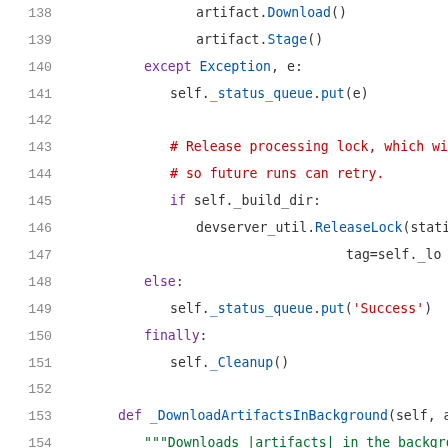Code listing lines 138-159, Python source code showing artifact download, exception handling, lock release, and background download methods.